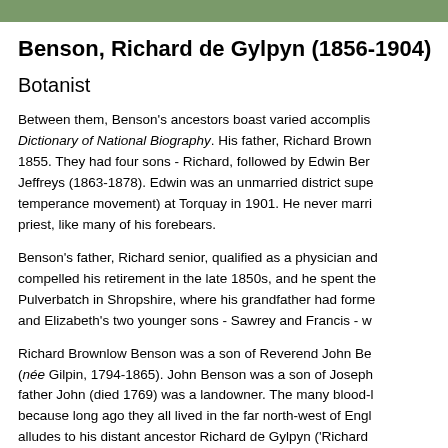Benson, Richard de Gylpyn (1856-1904)
Botanist
Between them, Benson's ancestors boast varied accomplishments in the Dictionary of National Biography. His father, Richard Brownlow Benson, married in 1855. They had four sons - Richard, followed by Edwin Benson, Charles, and Jeffreys (1863-1878). Edwin was an unmarried district superintendent (temperance movement) at Torquay in 1901. He never married. Richard became a priest, like many of his forebears.
Benson's father, Richard senior, qualified as a physician and poor health compelled his retirement in the late 1850s, and he spent the rest of his life at Pulverbatch in Shropshire, where his grandfather had formerly lived. Richard and Elizabeth's two younger sons - Sawrey and Francis - w
Richard Brownlow Benson was a son of Reverend John Benson and Elizabeth (née Gilpin, 1794-1865). John Benson was a son of Joseph Benson, whose grandfather John (died 1769) was a landowner. The many blood-links are partly because long ago they all lived in the far north-west of England. The surname alludes to his distant ancestor Richard de Gylpyn ('Richard